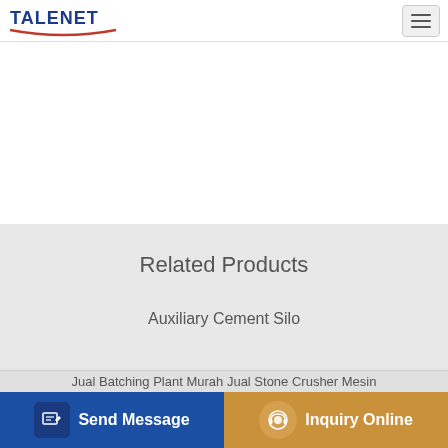TALENET
Related Products
Auxiliary Cement Silo
Asphalt manufacturing plants opened in Periyakulam and
pld800 batcher equipped hzs35 automatic concrete batching plant
Jual Batching Plant Murah Jual Stone Crusher Mesin
Send Message
Inquiry Online